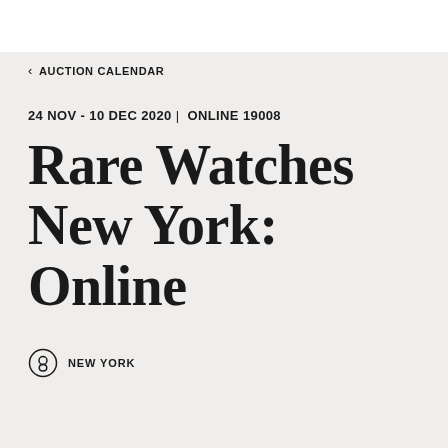< AUCTION CALENDAR
24 NOV - 10 DEC 2020 | ONLINE 19008
Rare Watches New York: Online
NEW YORK